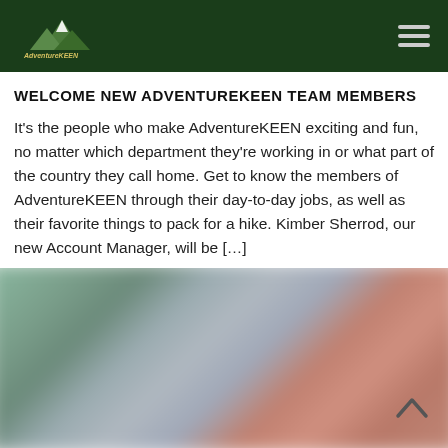AdventureKEEN logo and navigation
WELCOME NEW ADVENTUREKEEN TEAM MEMBERS
It's the people who make AdventureKEEN exciting and fun, no matter which department they're working in or what part of the country they call home. Get to know the members of AdventureKEEN through their day-to-day jobs, as well as their favorite things to pack for a hike. Kimber Sherrod, our new Account Manager, will be [...]
[Figure (photo): Blurred group photo of AdventureKEEN team members]